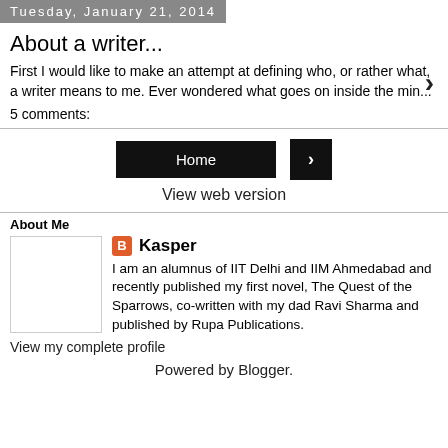Tuesday, January 21, 2014
About a writer...
First I would like to make an attempt at defining who, or rather what, a writer means to me. Ever wondered what goes on inside the min...
5 comments:
Home
View web version
About Me
Kasper
I am an alumnus of IIT Delhi and IIM Ahmedabad and recently published my first novel, The Quest of the Sparrows, co-written with my dad Ravi Sharma and published by Rupa Publications.
View my complete profile
Powered by Blogger.